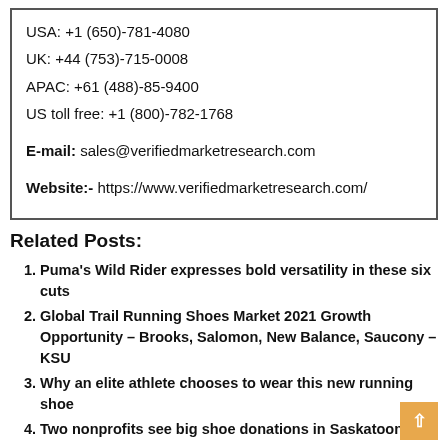USA: +1 (650)-781-4080
UK: +44 (753)-715-0008
APAC: +61 (488)-85-9400
US toll free: +1 (800)-782-1768
E-mail: sales@verifiedmarketresearch.com
Website:- https://www.verifiedmarketresearch.com/
Related Posts:
Puma's Wild Rider expresses bold versatility in these six cuts
Global Trail Running Shoes Market 2021 Growth Opportunity – Brooks, Salomon, New Balance, Saucony – KSU
Why an elite athlete chooses to wear this new running shoe
Two nonprofits see big shoe donations in Saskatoon